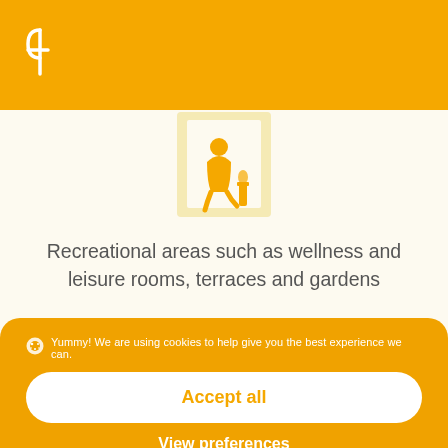[Figure (logo): White circular logo mark with fork-like symbol on orange/yellow background]
[Figure (illustration): Orange silhouette icon of a person sitting by a window with a candle or lamp, on cream background]
Recreational areas such as wellness and leisure rooms, terraces and gardens
Yummy! We are using cookies to help give you the best experience we can.
Accept all
View preferences
Privacy  Privacy  Imprint